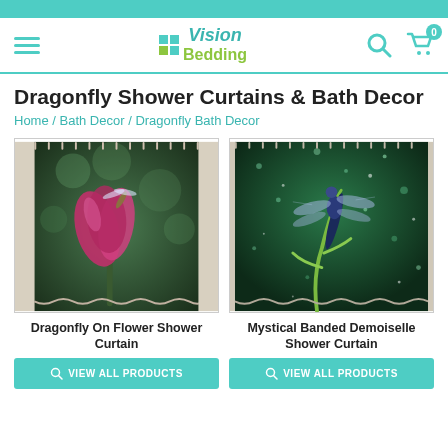[Figure (screenshot): VisionBedding website navigation bar with hamburger menu, logo, search icon, and cart icon showing 0 items]
Dragonfly Shower Curtains & Bath Decor
Home / Bath Decor / Dragonfly Bath Decor
[Figure (photo): Shower curtain featuring a dragonfly on a pink/red flower against a green bokeh background, hanging in a bathroom]
Dragonfly On Flower Shower Curtain
VIEW ALL PRODUCTS
[Figure (photo): Shower curtain featuring a Mystical Banded Demoiselle dragonfly on green grass with sparkling water droplets on dark green background, hanging in a bathroom]
Mystical Banded Demoiselle Shower Curtain
VIEW ALL PRODUCTS